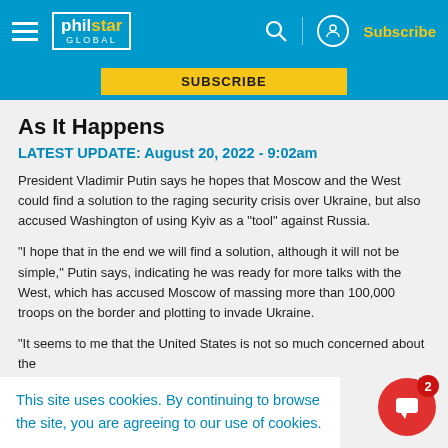philstar GLOBAL — Subscribe
[Figure (screenshot): Yellow Subscribe button on blue background]
As It Happens
LATEST UPDATE: August 20, 2022 - 9:02am
President Vladimir Putin says he hopes that Moscow and the West could find a solution to the raging security crisis over Ukraine, but also accused Washington of using Kyiv as a "tool" against Russia.
"I hope that in the end we will find a solution, although it will not be simple," Putin says, indicating he was ready for more talks with the West, which has accused Moscow of massing more than 100,000 troops on the border and plotting to invade Ukraine.
"It seems to me that the United States is not so much concerned about the security of...
This site uses cookies. By continuing to browse the site, you are agreeing to our use of cookies.